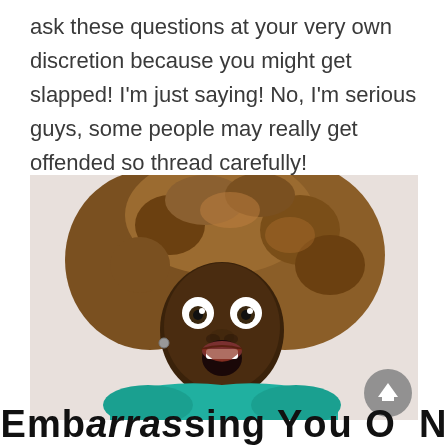ask these questions at your very own discretion because you might get slapped! I'm just saying! No, I'm serious guys, some people may really get offended so thread carefully!
[Figure (photo): A woman with large curly auburn hair and wide open eyes and mouth, expressing shock or surprise, wearing a teal top, against a light gray background. A gray scroll-to-top button is overlaid in the bottom-right corner of the image.]
Embarrassing Your O N...